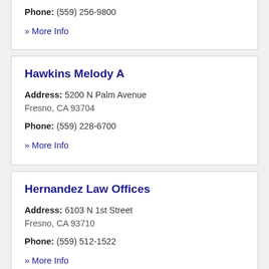Phone: (559) 256-9800
» More Info
Hawkins Melody A
Address: 5200 N Palm Avenue
Fresno, CA 93704
Phone: (559) 228-6700
» More Info
Hernandez Law Offices
Address: 6103 N 1st Street
Fresno, CA 93710
Phone: (559) 512-1522
» More Info